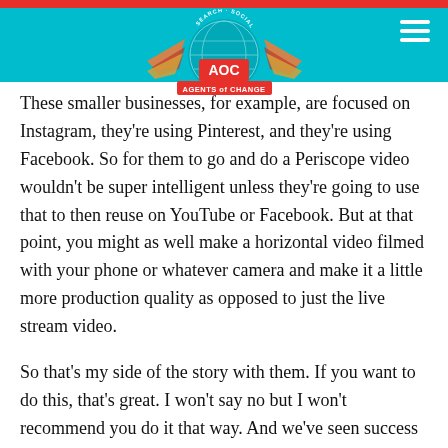AGENTS OF CHANGE
These smaller businesses, for example, are focused on Instagram, they're using Pinterest, and they're using Facebook. So for them to go and do a Periscope video wouldn't be super intelligent unless they're going to use that to then reuse on YouTube or Facebook. But at that point, you might as well make a horizontal video filmed with your phone or whatever camera and make it a little more production quality as opposed to just the live stream video.
So that's my side of the story with them. If you want to do this, that's great. I won't say no but I won't recommend you do it that way. And we've seen success because again, they're playing with Instagram videos, they're playing with Facebook video and that's working tremendously for them,